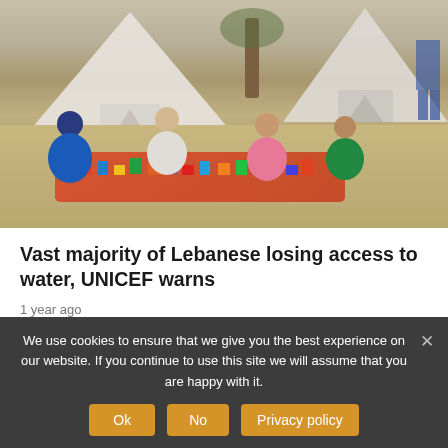[Figure (photo): Children sitting on a mat outdoors playing with colorful building blocks, with white tents in the background on dry ground.]
Vast majority of Lebanese losing access to water, UNICEF warns
1 year ago
The United Nations warned on Friday that more than four million people in Lebanon, including one million refugees risked losing access to safe water as shortages of funding, fuel and supplies
We use cookies to ensure that we give you the best experience on our website. If you continue to use this site we will assume that you are happy with it.